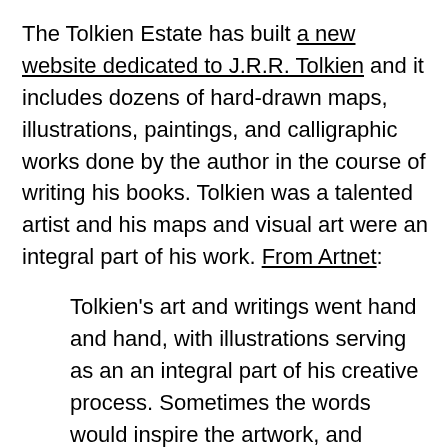The Tolkien Estate has built a new website dedicated to J.R.R. Tolkien and it includes dozens of hard-drawn maps, illustrations, paintings, and calligraphic works done by the author in the course of writing his books. Tolkien was a talented artist and his maps and visual art were an integral part of his work. From Artnet:
Tolkien's art and writings went hand and hand, with illustrations serving as an an integral part of his creative process. Sometimes the words would inspire the artwork, and sometimes drawing a scene would move the narrative in new directions.
The author meticulously mapped out the world of Middle Earth to ensure the accurate movements of his large cast of characters.
I was lucky enough to see some of these maps and